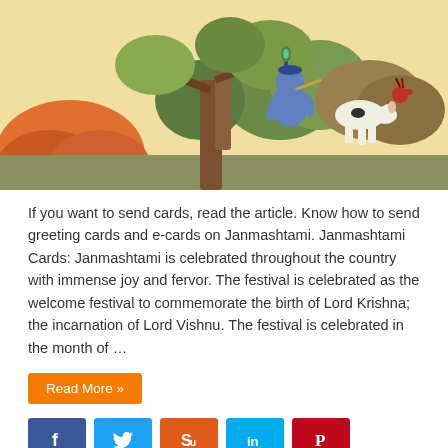[Figure (illustration): Animated illustration of young Lord Krishna (blue-skinned, wearing a hat with feather) playing flute while sitting in a tree with a cow, set against a warm landscape with orange rocks and green trees]
If you want to send cards, read the article. Know how to send greeting cards and e-cards on Janmashtami. Janmashtami Cards: Janmashtami is celebrated throughout the country with immense joy and fervor. The festival is celebrated as the welcome festival to commemorate the birth of Lord Krishna; the incarnation of Lord Vishnu. The festival is celebrated in the month of …
Read More »
[Figure (infographic): Row of social media share buttons: Facebook (blue), Twitter (light blue), StumbleUpon (orange-red), LinkedIn (cyan), Pinterest (red)]
Janmashtami Gifts: Presents & Gift Ideas